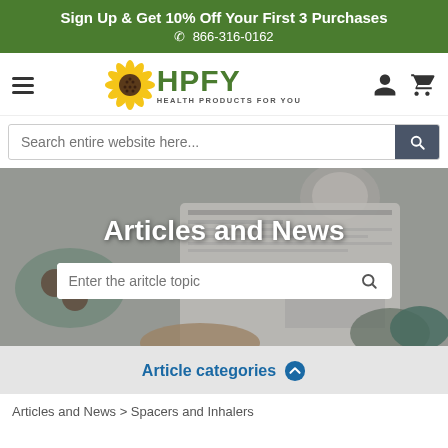Sign Up & Get 10% Off Your First 3 Purchases
📞 866-316-0162
[Figure (logo): HPFY Health Products For You logo with sunflower icon]
[Figure (screenshot): Search bar with placeholder 'Search entire website here...' and dark search button]
[Figure (photo): Hero banner photo showing person reading newspaper/magazine on table with coffee and cookies. Overlaid text: 'Articles and News' and a search input 'Enter the aritcle topic']
Article categories
Articles and News > Spacers and Inhalers